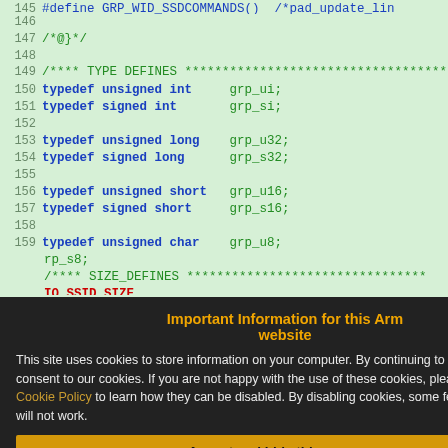[Figure (screenshot): Screenshot of C source code with line numbers 145-175, showing typedef declarations for unsigned/signed int, long, short, char types, and size/parameter defines. A cookie consent popup overlay appears in the bottom-left covering lines 160-175.]
Important Information for this Arm website
This site uses cookies to store information on your computer. By continuing to use our site, you consent to our cookies. If you are not happy with the use of these cookies, please review our Cookie Policy to learn how they can be disabled. By disabling cookies, some features of the site will not work.
Accept and hide this message